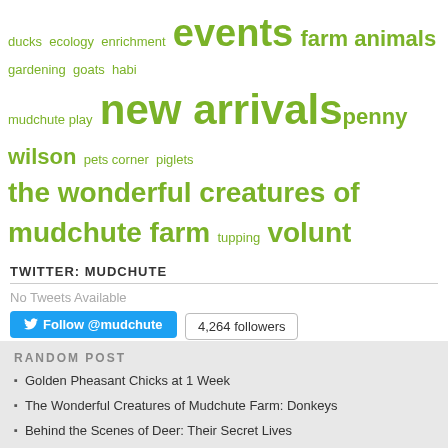ducks ecology enrichment events farm animals gardening goats habi… mudchute play new arrivals penny wilson pets corner piglets the wonderful creatures of mudchute farm tupping volunt…
TWITTER: MUDCHUTE
No Tweets Available
Follow @mudchute  4,264 followers
INSTAGRAM: MUDCHUTE_FARM
Load More...
RANDOM POST
Golden Pheasant Chicks at 1 Week
The Wonderful Creatures of Mudchute Farm: Donkeys
Behind the Scenes of Deer: Their Secret Lives